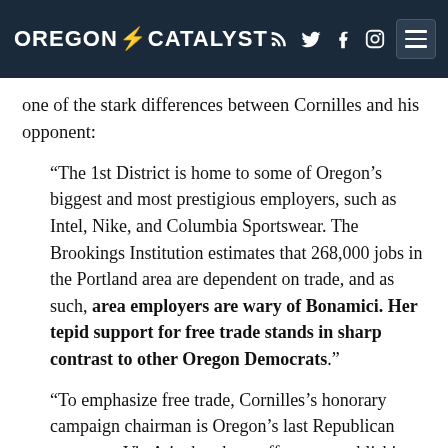OREGON CATALYST
one of the stark differences between Cornilles and his opponent:
“The 1st District is home to some of Oregon’s biggest and most prestigious employers, such as Intel, Nike, and Columbia Sportswear. The Brookings Institution estimates that 268,000 jobs in the Portland area are dependent on trade, and as such, area employers are wary of Bonamici. Her tepid support for free trade stands in sharp contrast to other Oregon Democrats.”
“To emphasize free trade, Cornilles’s honorary campaign chairman is Oregon’s last Republican governor, Vic Atiyeh, whose efforts at establishing trade links between Ore…